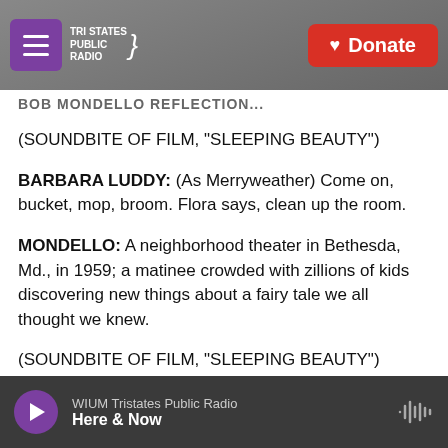Tri States Public Radio — Donate
(partial heading cut off at top)
(SOUNDBITE OF FILM, "SLEEPING BEAUTY")
BARBARA LUDDY: (As Merryweather) Come on, bucket, mop, broom. Flora says, clean up the room.
MONDELLO: A neighborhood theater in Bethesda, Md., in 1959; a matinee crowded with zillions of kids discovering new things about a fairy tale we all thought we knew.
(SOUNDBITE OF FILM, "SLEEPING BEAUTY")
VERNA FELTON: (As Flora) And now to make a (partially cut off)
WIUM Tristates Public Radio — Here & Now